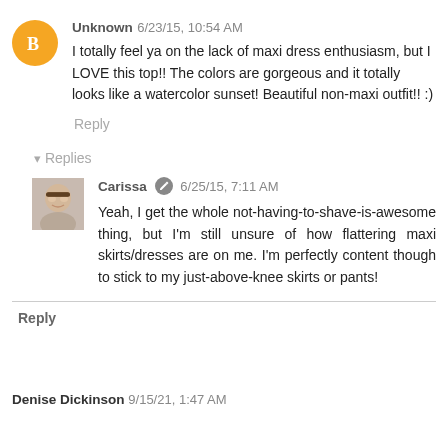Unknown 6/23/15, 10:54 AM
I totally feel ya on the lack of maxi dress enthusiasm, but I LOVE this top!! The colors are gorgeous and it totally looks like a watercolor sunset! Beautiful non-maxi outfit!! :)
Reply
▾ Replies
[Figure (photo): Avatar photo of Carissa - woman with glasses]
Carissa 6/25/15, 7:11 AM
Yeah, I get the whole not-having-to-shave-is-awesome thing, but I'm still unsure of how flattering maxi skirts/dresses are on me. I'm perfectly content though to stick to my just-above-knee skirts or pants!
Reply
Denise Dickinson 9/15/21, 1:47 AM